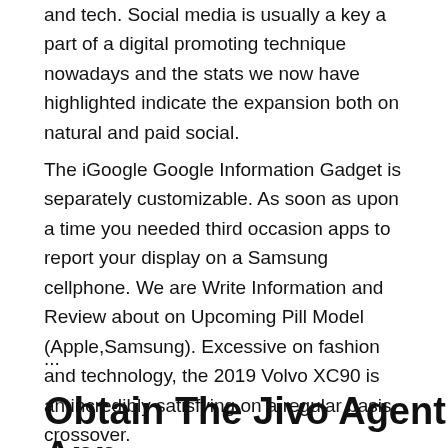and tech. Social media is usually a key a part of a digital promoting technique nowadays and the stats we now have highlighted indicate the expansion both on natural and paid social.
The iGoogle Google Information Gadget is separately customizable. As soon as upon a time you needed third occasion apps to report your display on a Samsung cellphone. We are Write Information and Review about on Upcoming Pill Model (Apple,Samsung). Excessive on fashion and technology, the 2019 Volvo XC90 is an incredibly satisfying on a regular basis crossover.
...
Obtain The Jivo Agent App